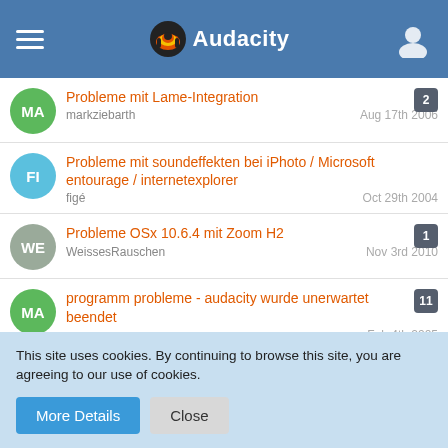Audacity
Probleme mit Lame-Integration | markziebarth | Aug 17th 2006 | 2
Probleme mit soundeffekten bei iPhoto / Microsoft entourage / internetexplorer | figé | Oct 29th 2004
Probleme OSx 10.6.4 mit Zoom H2 | WeissesRauschen | Nov 3rd 2010 | 1
programm probleme - audacity wurde unerwartet beendet | maarec | Feb 4th 2005 | 11
Programmabsturz bei Beenden der 'Preferenes...' | Schorse | Jan 23rd 2005
This site uses cookies. By continuing to browse this site, you are agreeing to our use of cookies.